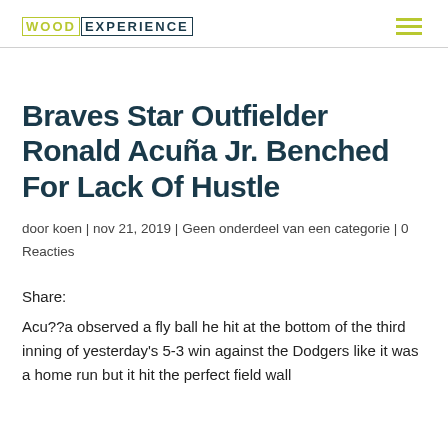WOODEXPERIENCE
Braves Star Outfielder Ronald Acuña Jr. Benched For Lack Of Hustle
door koen | nov 21, 2019 | Geen onderdeel van een categorie | 0 Reacties
Share:
Acu??a observed a fly ball he hit at the bottom of the third inning of yesterday's 5-3 win against the Dodgers like it was a home run but it hit the perfect field wall